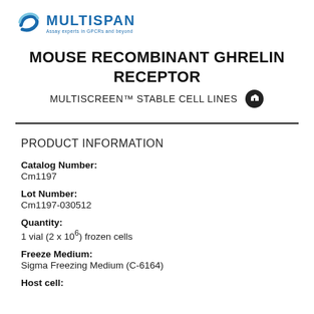[Figure (logo): Multispan company logo with blue swoosh icon and text 'MULTISPAN' with tagline 'Assay experts in GPCRs and beyond']
MOUSE RECOMBINANT GHRELIN RECEPTOR
MULTISCREEN™ STABLE CELL LINES
PRODUCT INFORMATION
Catalog Number:
Cm1197
Lot Number:
Cm1197-030512
Quantity:
1 vial (2 x 10^6) frozen cells
Freeze Medium:
Sigma Freezing Medium (C-6164)
Host cell: